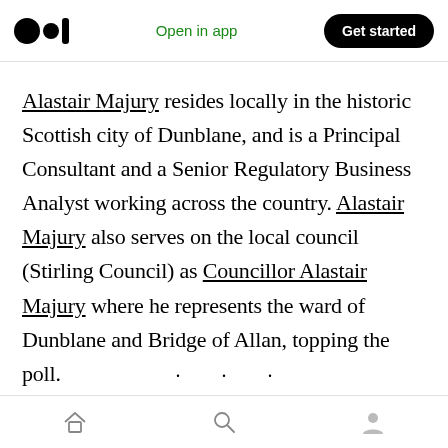Open in app | Get started
Alastair Majury resides locally in the historic Scottish city of Dunblane, and is a Principal Consultant and a Senior Regulatory Business Analyst working across the country. Alastair Majury also serves on the local council (Stirling Council) as Councillor Alastair Majury where he represents the ward of Dunblane and Bridge of Allan, topping the poll.
• • •
Alastair Majury is also a director of Majury...
Home | Search | Profile